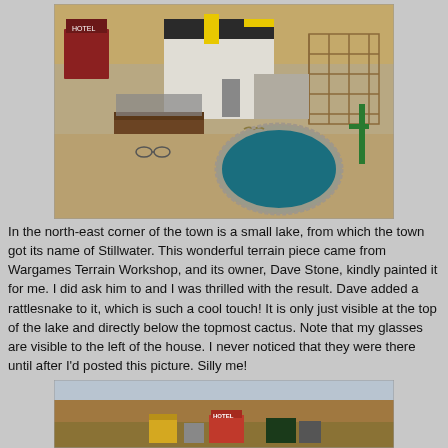[Figure (photo): Aerial view of a miniature wargaming terrain layout showing Western town buildings including a hotel, houses under construction, wooden structures, a small oval lake with stone edging, and cacti on a sandy/earthy base.]
In the north-east corner of the town is a small lake, from which the town got its name of Stillwater. This wonderful terrain piece came from Wargames Terrain Workshop, and its owner, Dave Stone, kindly painted it for me. I did ask him to and I was thrilled with the result. Dave added a rattlesnake to it, which is such a cool touch! It is only just visible at the top of the lake and directly below the topmost cactus. Note that my glasses are visible to the left of the house. I never noticed that they were there until after I'd posted this picture. Silly me!
[Figure (photo): Partial view of a miniature wargaming terrain showing a Western town scene with buildings including a hotel sign, set against a backdrop of desert hills/mesa landscape.]